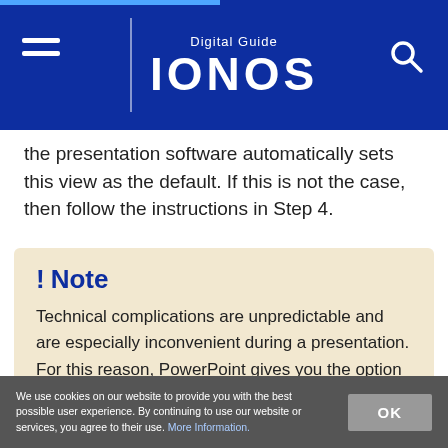Digital Guide IONOS
the presentation software automatically sets this view as the default. If this is not the case, then follow the instructions in Step 4.
! Note

Technical complications are unpredictable and are especially inconvenient during a presentation. For this reason, PowerPoint gives you the option of printing out your slides and notes with just a few clicks. This feature ensures that you have your PowerPoint notes in hand during your speech.
We use cookies on our website to provide you with the best possible user experience. By continuing to use our website or services, you agree to their use. More Information.